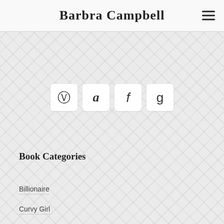Barbra Campbell
[Figure (other): Row of four social media icon buttons (Instagram, Amazon, Facebook, Goodreads) on a geometric diamond-pattern background]
Book Categories
Billionaire
Curvy Girl